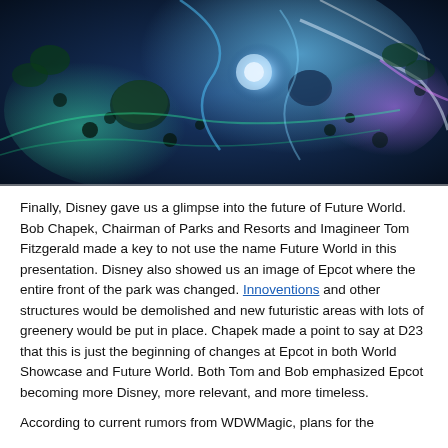[Figure (photo): Aerial nighttime photo of Epcot theme park showing futuristic structures, geodesic domes, colorful lights in blues, purples, and greens viewed from above.]
Finally, Disney gave us a glimpse into the future of Future World. Bob Chapek, Chairman of Parks and Resorts and Imagineer Tom Fitzgerald made a key to not use the name Future World in this presentation. Disney also showed us an image of Epcot where the entire front of the park was changed. Innoventions and other structures would be demolished and new futuristic areas with lots of greenery would be put in place. Chapek made a point to say at D23 that this is just the beginning of changes at Epcot in both World Showcase and Future World. Both Tom and Bob emphasized Epcot becoming more Disney, more relevant, and more timeless.
According to current rumors from WDWMagic, plans for the